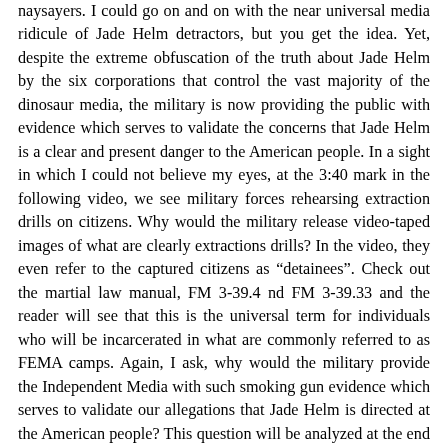naysayers. I could go on and on with the near universal media ridicule of Jade Helm detractors, but you get the idea. Yet, despite the extreme obfuscation of the truth about Jade Helm by the six corporations that control the vast majority of the dinosaur media, the military is now providing the public with evidence which serves to validate the concerns that Jade Helm is a clear and present danger to the American people. In a sight in which I could not believe my eyes, at the 3:40 mark in the following video, we see military forces rehearsing extraction drills on citizens. Why would the military release video-taped images of what are clearly extractions drills? In the video, they even refer to the captured citizens as “detainees”. Check out the martial law manual, FM 3-39.4 nd FM 3-39.33 and the reader will see that this is the universal term for individuals who will be incarcerated in what are commonly referred to as FEMA camps. Again, I ask, why would the military provide the Independent Media with such smoking gun evidence which serves to validate our allegations that Jade Helm is directed at the American people? This question will be analyzed at the end of this article. Just for now, let’s suffice it to say that this is a planned leak of very damning information. In another leak of information, we have yet another video which demonstrates that a permanent martial law force is being prepared to be unleashed upon the American public in a matter of months and the source of the information is stunning. Amy Goodman and Democracy Now Amy Goodman, the host of the PBS show, Democracy Now, has